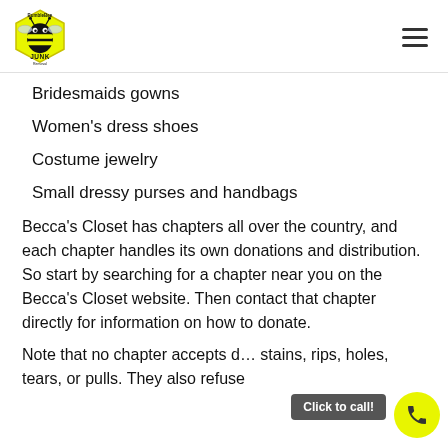BumbleBee Junk Removal
Bridesmaids gowns
Women's dress shoes
Costume jewelry
Small dressy purses and handbags
Becca's Closet has chapters all over the country, and each chapter handles its own donations and distribution. So start by searching for a chapter near you on the Becca's Closet website. Then contact that chapter directly for information on how to donate.
Note that no chapter accepts d… stains, rips, holes, tears, or pulls. They also refuse